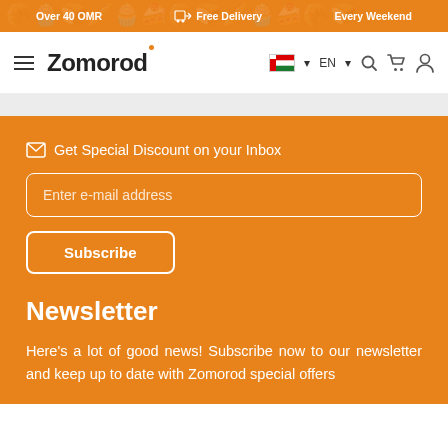Over 40 OMR  Free Delivery  Every Weekend
[Figure (logo): Zomorod website header with hamburger menu, logo, flag/language selector, search, cart, and user icons]
Get Special Discount on your Inbox
Enter e-mail address
Subscribe
Newsletter
Here's a lot of good news! Subscribe now to our newsletter and keep up to date with Zomorod special offers